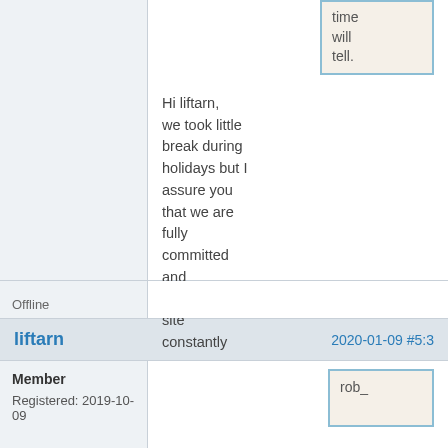time will tell.
Hi liftarn, we took little break during holidays but I assure you that we are fully committed and improving site constantly
Offline
liftarn
2020-01-09 #5:3
Member
Registered: 2019-10-09
rob_